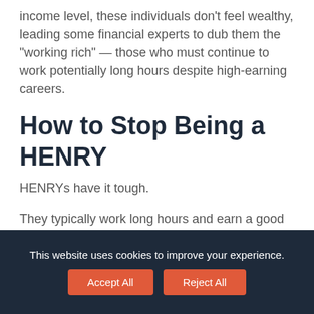income level, these individuals don't feel wealthy, leading some financial experts to dub them the “working rich” — those who must continue to work potentially long hours despite high-earning careers.
How to Stop Being a HENRY
HENRYs have it tough.
They typically work long hours and earn a good salary but have little to show for it. They may have to pay a significant portion of their
This website uses cookies to improve your experience.
Accept All
Reject All